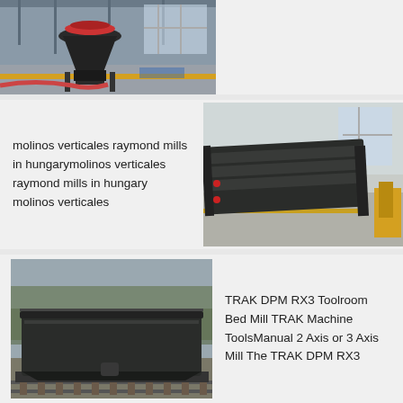[Figure (photo): Industrial machinery / cone crusher in a factory setting, viewed from below with steel structure visible]
molinos verticales raymond mills in hungarymolinos verticales raymond mills in hungary molinos verticales
[Figure (photo): Large industrial vibrating screen / conveyor equipment on a factory floor]
[Figure (photo): Large dark metal trough or tank on a railway flatcar, outdoors with trees in background]
TRAK DPM RX3 Toolroom Bed Mill TRAK Machine ToolsManual 2 Axis or 3 Axis Mill The TRAK DPM RX3